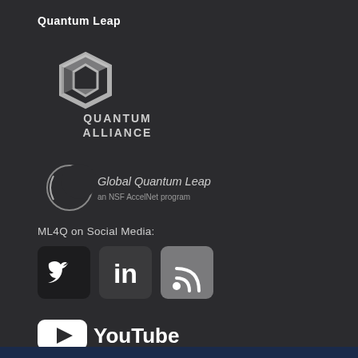Quantum Leap
[Figure (logo): Quantum Alliance logo — a hexagonal gem icon in light gray with text QUANTUM ALLIANCE below]
[Figure (logo): Global Quantum Leap logo — crescent moon arc icon with text 'Global Quantum Leap an NSF AccelNet program']
ML4Q on Social Media:
[Figure (logo): Social media icons: Twitter bird (white on dark rounded square), LinkedIn 'in' (white on gray rounded square), RSS feed icon (white on gray rounded square)]
[Figure (logo): YouTube logo — white play button rectangle followed by 'YouTube' text in white]